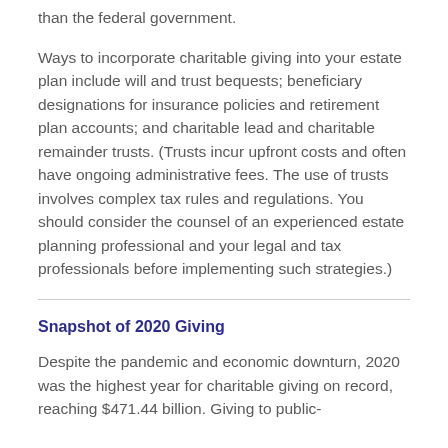than the federal government.
Ways to incorporate charitable giving into your estate plan include will and trust bequests; beneficiary designations for insurance policies and retirement plan accounts; and charitable lead and charitable remainder trusts. (Trusts incur upfront costs and often have ongoing administrative fees. The use of trusts involves complex tax rules and regulations. You should consider the counsel of an experienced estate planning professional and your legal and tax professionals before implementing such strategies.)
Snapshot of 2020 Giving
Despite the pandemic and economic downturn, 2020 was the highest year for charitable giving on record, reaching $471.44 billion. Giving to public-